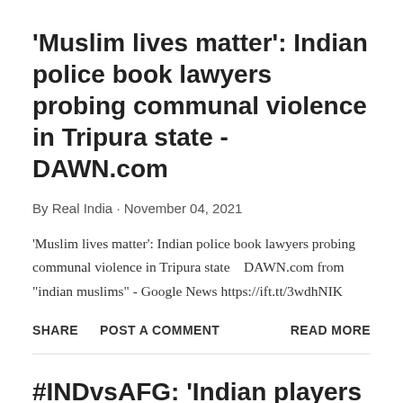'Muslim lives matter': Indian police book lawyers probing communal violence in Tripura state - DAWN.com
By Real India · November 04, 2021
'Muslim lives matter': Indian police book lawyers probing communal violence in Tripura state    DAWN.com from "indian muslims" - Google News https://ift.tt/3wdhNIK
SHARE    POST A COMMENT    READ MORE
#INDvsAFG: 'Indian players safer in